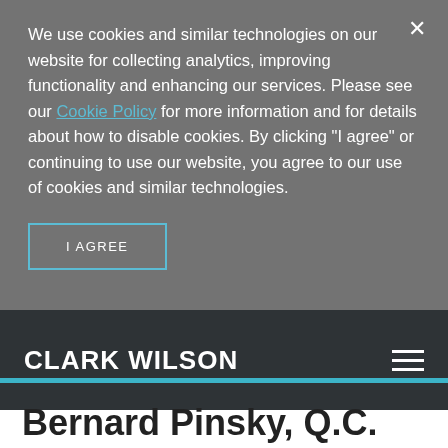We use cookies and similar technologies on our website for collecting analytics, improving functionality and enhancing our services. Please see our Cookie Policy for more information and for details about how to disable cookies. By clicking "I agree" or continuing to use our website, you agree to our use of cookies and similar technologies.
I AGREE
CLARK WILSON
Bernard Pinsky, Q.C.